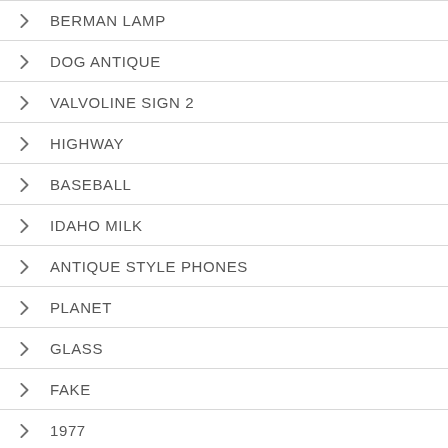BERMAN LAMP
DOG ANTIQUE
VALVOLINE SIGN 2
HIGHWAY
BASEBALL
IDAHO MILK
ANTIQUE STYLE PHONES
PLANET
GLASS
FAKE
1977